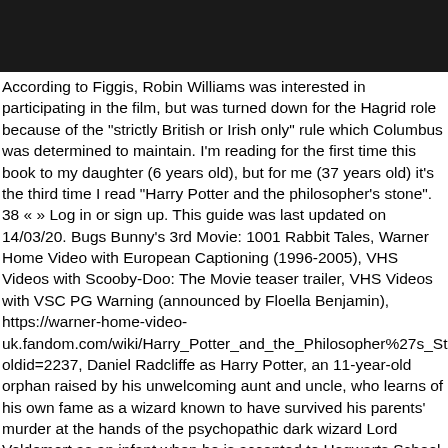[Figure (other): Black bar at top of page]
According to Figgis, Robin Williams was interested in participating in the film, but was turned down for the Hagrid role because of the "strictly British or Irish only" rule which Columbus was determined to maintain. I'm reading for the first time this book to my daughter (6 years old), but for me (37 years old) it's the third time I read "Harry Potter and the philosopher's stone". 38 « » Log in or sign up. This guide was last updated on 14/03/20. Bugs Bunny's 3rd Movie: 1001 Rabbit Tales, Warner Home Video with European Captioning (1996-2005), VHS Videos with Scooby-Doo: The Movie teaser trailer, VHS Videos with VSC PG Warning (announced by Floella Benjamin), https://warner-home-video-uk.fandom.com/wiki/Harry_Potter_and_the_Philosopher%27s_Stone?oldid=2237, Daniel Radcliffe as Harry Potter, an 11-year-old orphan raised by his unwelcoming aunt and uncle, who learns of his own fame as a wizard known to have survived his parents' murder at the hands of the psychopathic dark wizard Lord Voldemort as an infant when he is accepted to Hogwarts School of Witchcraft and Wizardry. Discover the many secrets of Hogwarts as you learn to ride your broomstick, play Quidditch and participate in exciting spell